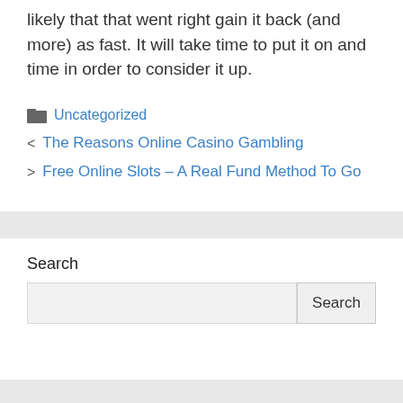likely that that went right gain it back (and more) as fast. It will take time to put it on and time in order to consider it up.
Uncategorized
< The Reasons Online Casino Gambling
> Free Online Slots – A Real Fund Method To Go
Search